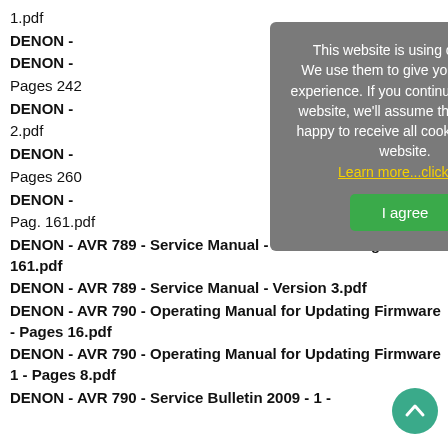1.pdf
DENON -
DENON -
Pages 242
DENON -
2.pdf
DENON -
Pages 260
DENON -
Pag. 161.pdf
DENON - AVR 789 - Service Manual - Version 3 - Pages 161.pdf
DENON - AVR 789 - Service Manual - Version 3.pdf
DENON - AVR 790 - Operating Manual for Updating Firmware - Pages 16.pdf
DENON - AVR 790 - Operating Manual for Updating Firmware 1 - Pages 8.pdf
DENON - AVR 790 - Service Bulletin 2009 - 1 -
[Figure (screenshot): Cookie consent overlay dialog with gray background. Text reads: 'This website is using cookies! We use them to give you the best experience. If you continue using our website, we'll assume that you are happy to receive all cookies on this website.' Yellow underlined link: 'Learn more...click me'. Green button: 'I agree'.]